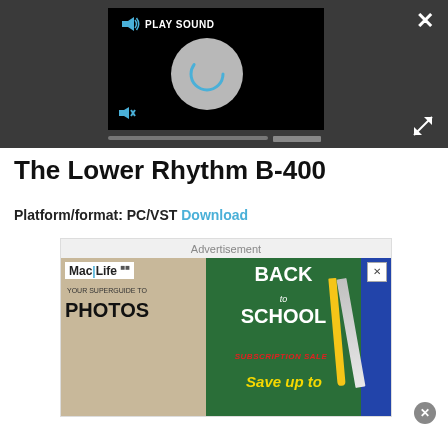[Figure (screenshot): Dark media player UI with PLAY SOUND label, speaker icon, loading spinner, mute button, and progress bar on black background]
The Lower Rhythm B-400
Platform/format: PC/VST Download
[Figure (screenshot): Advertisement banner: Mac Life magazine Back to School Subscription Sale, Save up to...]
Advertisement